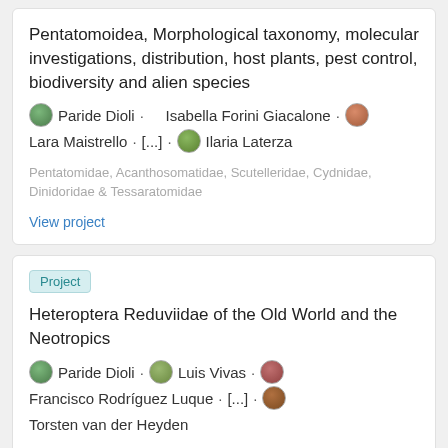Pentatomoidea, Morphological taxonomy, molecular investigations, distribution, host plants, pest control, biodiversity and alien species
Paride Dioli · Isabella Forini Giacalone · Lara Maistrello · [...] · Ilaria Laterza
Pentatomidae, Acanthosomatidae, Scutelleridae, Cydnidae, Dinidoridae & Tessaratomidae
View project
Project
Heteroptera Reduviidae of the Old World and the Neotropics
Paride Dioli · Luis Vivas · Francisco Rodríguez Luque · [...] · Torsten van der Heyden
Studies of taxonomy and geographic distribution
View project